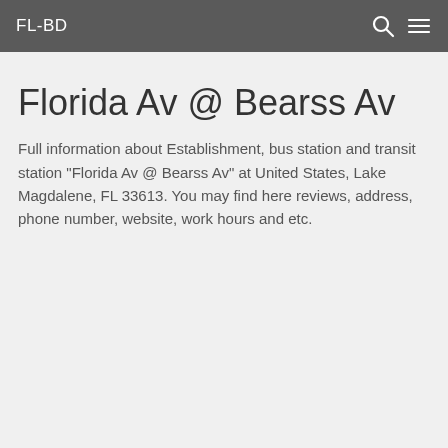FL-BD
Florida Av @ Bearss Av
Full information about Establishment, bus station and transit station "Florida Av @ Bearss Av" at United States, Lake Magdalene, FL 33613. You may find here reviews, address, phone number, website, work hours and etc.